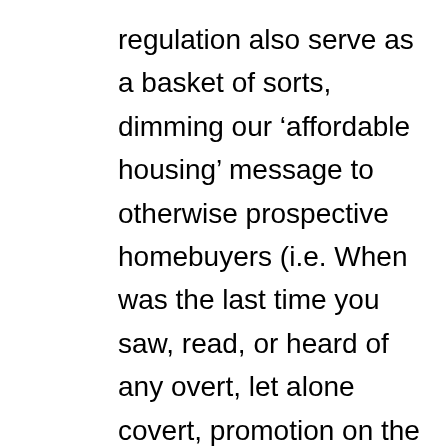regulation also serve as a basket of sorts, dimming our ‘affordable housing’ message to otherwise prospective homebuyers (i.e. When was the last time you saw, read, or heard of any overt, let alone covert, promotion on the part of HUD, encouraging American citizenry to ‘Buy a manufactured home!’? Maybe never, and also our ‘protector’, again, from other types of less affordable shelter